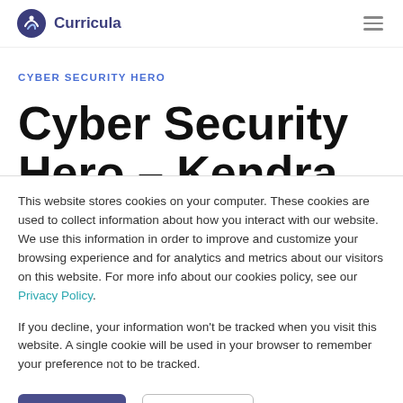Curricula
CYBER SECURITY HERO
Cyber Security Hero – Kendra
This website stores cookies on your computer. These cookies are used to collect information about how you interact with our website. We use this information in order to improve and customize your browsing experience and for analytics and metrics about our visitors on this website. For more info about our cookies policy, see our Privacy Policy.
If you decline, your information won't be tracked when you visit this website. A single cookie will be used in your browser to remember your preference not to be tracked.